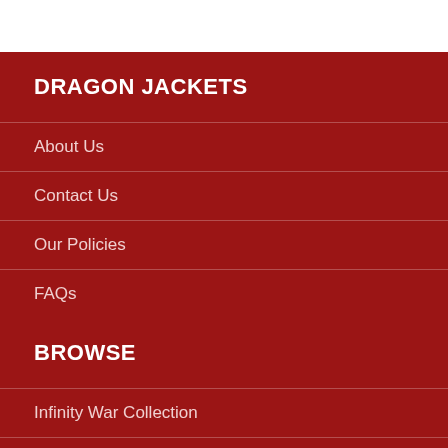DRAGON JACKETS
About Us
Contact Us
Our Policies
FAQs
BROWSE
Infinity War Collection
James Bond Suits
Star Wars Costumes